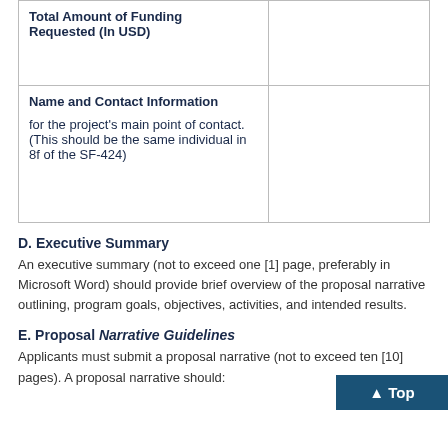| Field | Value |
| --- | --- |
| Total Amount of Funding Requested (In USD) |  |
| Name and Contact Information

for the project's main point of contact. (This should be the same individual in 8f of the SF-424) |  |
D. Executive Summary
An executive summary (not to exceed one [1] page, preferably in Microsoft Word) should provide brief overview of the proposal narrative outlining, program goals, objectives, activities, and intended results.
E. Proposal Narrative Guidelines
Applicants must submit a proposal narrative (not to exceed ten [10] pages). A proposal narrative should: